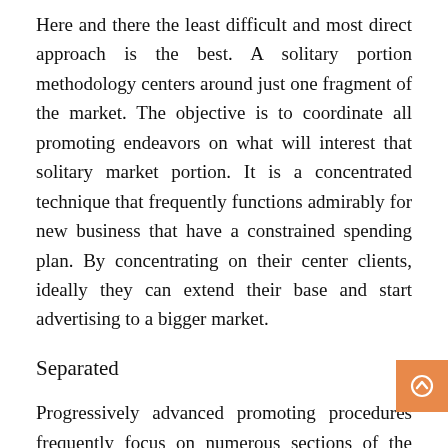Here and there the least difficult and most direct approach is the best. A solitary portion methodology centers around just one fragment of the market. The objective is to coordinate all promoting endeavors on what will interest that solitary market portion. It is a concentrated technique that frequently functions admirably for new business that have a constrained spending plan. By concentrating on their center clients, ideally they can extend their base and start advertising to a bigger market.
Separated
Progressively advanced promoting procedures frequently focus on numerous sections of the market. This multi-portion procedure is intended to exploit all parts of the market. Each market can separated into sub-gatherings, so by separating between them an advertising effort can focus on a few sorts of clients without a moment's delay